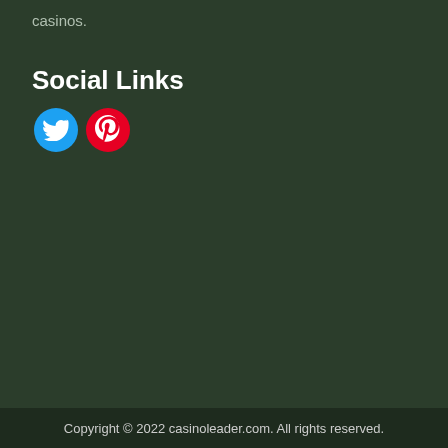casinos.
Social Links
[Figure (illustration): Two social media icon buttons: a blue Twitter bird icon and a red Pinterest 'P' icon, both circular.]
Copyright © 2022 casinoleader.com. All rights reserved.